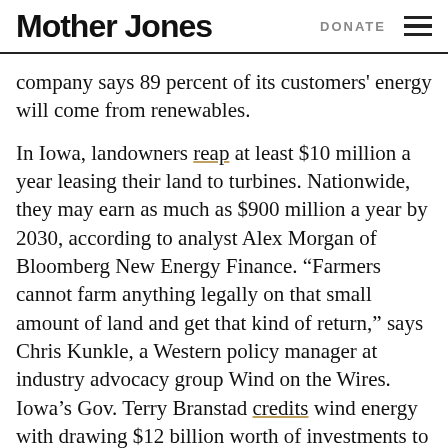Mother Jones | DONATE
company says 89 percent of its customers' energy will come from renewables.
In Iowa, landowners reap at least $10 million a year leasing their land to turbines. Nationwide, they may earn as much as $900 million a year by 2030, according to analyst Alex Morgan of Bloomberg New Energy Finance. “Farmers cannot farm anything legally on that small amount of land and get that kind of return,” says Chris Kunkle, a Western policy manager at industry advocacy group Wind on the Wires. Iowa’s Gov. Terry Branstad credits wind energy with drawing $12 billion worth of investments to his state. It also added 11